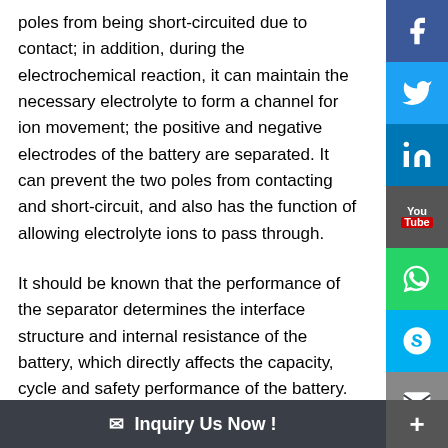poles from being short-circuited due to contact; in addition, during the electrochemical reaction, it can maintain the necessary electrolyte to form a channel for ion movement; the positive and negative electrodes of the battery are separated. It can prevent the two poles from contacting and short-circuit, and also has the function of allowing electrolyte ions to pass through.
It should be known that the performance of the separator determines the interface structure and internal resistance of the battery, which directly affects the capacity, cycle and safety performance of the battery. The separator with excellent performance plays an important role in improving the overall performance of the battery.